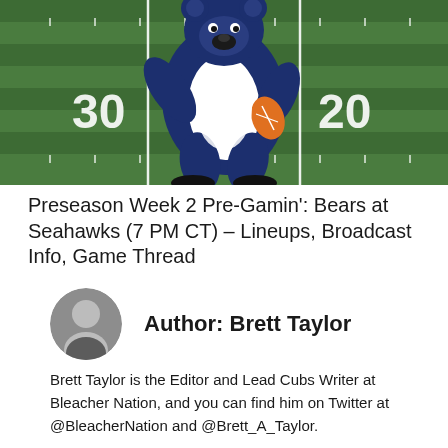[Figure (illustration): A Chicago Bears bear mascot logo holding a football, standing on a green football field with white yard lines showing numbers 30 and 20]
Preseason Week 2 Pre-Gamin': Bears at Seahawks (7 PM CT) – Lineups, Broadcast Info, Game Thread
Author: Brett Taylor
Brett Taylor is the Editor and Lead Cubs Writer at Bleacher Nation, and you can find him on Twitter at @BleacherNation and @Brett_A_Taylor.